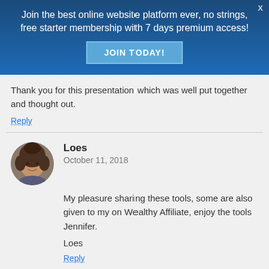Join the best online website platform ever, no strings, free starter membership with 7 days premium access! JOIN TODAY!
Thank you for this presentation which was well put together and thought out.
Reply
Loes
October 11, 2018
My pleasure sharing these tools, some are also given to my on Wealthy Affiliate, enjoy the tools Jennifer.

Loes
Reply
Josh
October 11, 2018